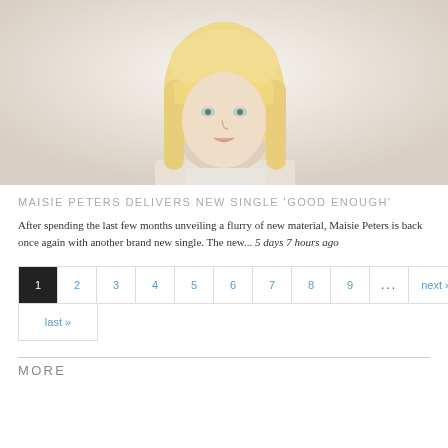[Figure (photo): Portrait photo of a blonde woman with straight hair and bangs, light background]
MAISIE PETERS DELIVERS NEW SINGLE 'GOOD ENOUGH'
After spending the last few months unveiling a flurry of new material, Maisie Peters is back once again with another brand new single. The new... 5 days 7 hours ago
1 2 3 4 5 6 7 8 9 ... next › last »
MORE